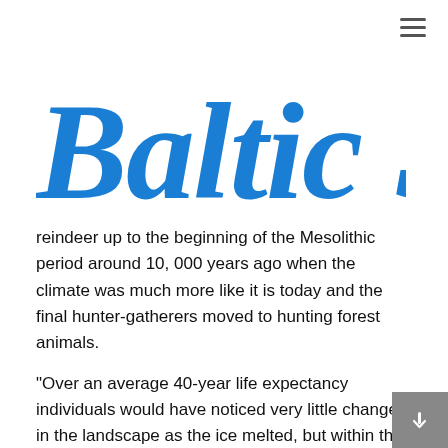Baltic Sea
reindeer  up to the beginning of the Mesolithic period around 10, 000 years ago when the climate was much more like it is today and the final hunter-gatherers moved to hunting forest animals.
"Over an average 40-year life expectancy individuals would have noticed very little change in the landscape as the ice melted, but within that gradual process there would have been more sudden events such as flash floods and tsunamis."